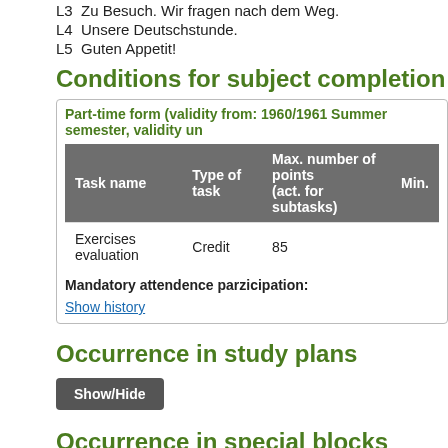L3  Zu Besuch. Wir fragen nach dem Weg.
L4  Unsere Deutschstunde.
L5  Guten Appetit!
Conditions for subject completion
Part-time form (validity from: 1960/1961 Summer semester, validity un...
| Task name | Type of task | Max. number of points (act. for subtasks) | Min. |
| --- | --- | --- | --- |
| Exercises evaluation | Credit | 85 |  |
Mandatory attendence parzicipation:
Show history
Occurrence in study plans
Show/Hide
Occurrence in special blocks
Show/Hide